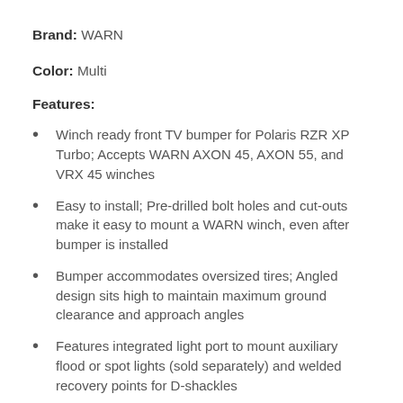Brand: WARN
Color: Multi
Features:
Winch ready front TV bumper for Polaris RZR XP Turbo; Accepts WARN AXON 45, AXON 55, and VRX 45 winches
Easy to install; Pre-drilled bolt holes and cut-outs make it easy to mount a WARN winch, even after bumper is installed
Bumper accommodates oversized tires; Angled design sits high to maintain maximum ground clearance and approach angles
Features integrated light port to mount auxiliary flood or spot lights (sold separately) and welded recovery points for D-shackles